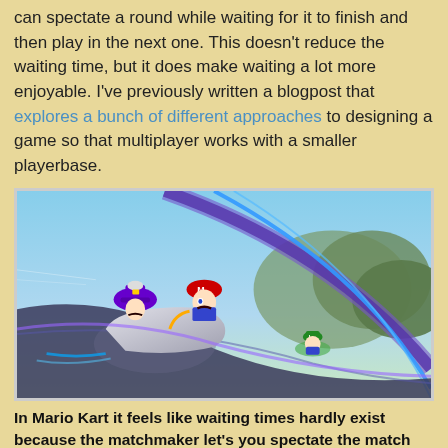can spectate a round while waiting for it to finish and then play in the next one. This doesn't reduce the waiting time, but it does make waiting a lot more enjoyable. I've previously written a blogpost that explores a bunch of different approaches to designing a game so that multiplayer works with a smaller playerbase.
[Figure (photo): Screenshot from Mario Kart showing Mario and other characters racing on a futuristic anti-gravity track with purple and blue tones, mountains visible in the background.]
In Mario Kart it feels like waiting times hardly exist because the matchmaker let's you spectate the match that you'll join after the current race has finished.